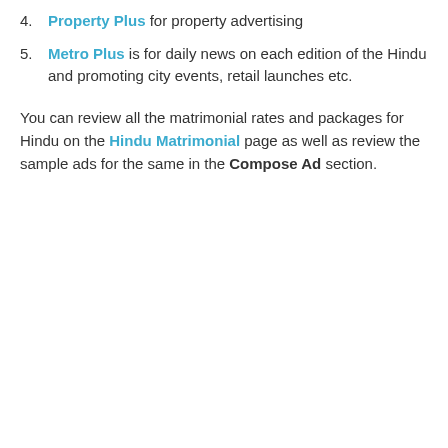4. Property Plus for property advertising
5. Metro Plus is for daily news on each edition of the Hindu and promoting city events, retail launches etc.
You can review all the matrimonial rates and packages for Hindu on the Hindu Matrimonial page as well as review the sample ads for the same in the Compose Ad section.